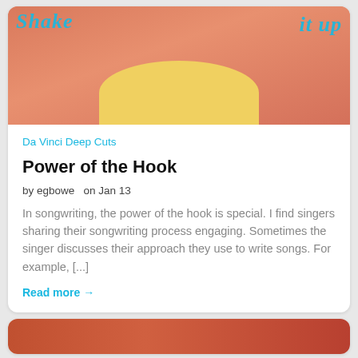[Figure (photo): Photo of a smiling woman in a yellow floral dress against a coral/salmon background, with cyan script text overlay reading 'Shake it up']
Da Vinci Deep Cuts
Power of the Hook
by egbowe  on Jan 13
In songwriting, the power of the hook is special. I find singers sharing their songwriting process engaging. Sometimes the singer discusses their approach they use to write songs. For example, [...]
Read more →
[Figure (photo): Partial image of book spines or stacked books with orange/red tones, cropped at bottom of page]